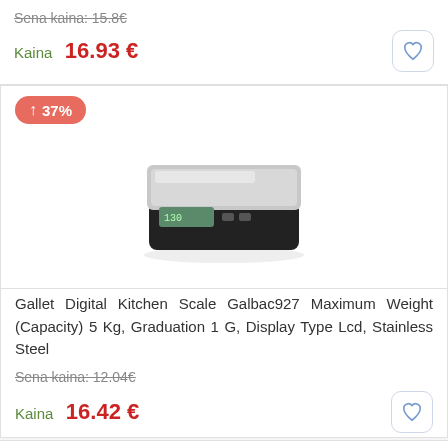Sena kaina: 15.8€
Kaina  16.93 €
[Figure (photo): Kitchen scale product card with 37% price increase badge, showing a Gallet digital kitchen scale]
Gallet Digital Kitchen Scale Galbac927 Maximum Weight (Capacity) 5 Kg, Graduation 1 G, Display Type Lcd, Stainless Steel
Sena kaina: 12.04€
Kaina  16.42 €
[Figure (photo): Gorenje kitchen scale product card with -6% price decrease badge, partial view at bottom]